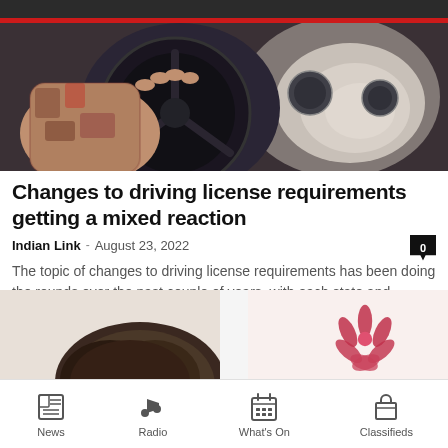[Figure (photo): Person with tattooed arm holding a car steering wheel, interior of vehicle visible]
Changes to driving license requirements getting a mixed reaction
Indian Link · August 23, 2022
The topic of changes to driving license requirements has been doing the rounds over the past couple of years, with each state and territory...
[Figure (photo): Bottom portion showing a person's head and a lotus flower icon]
News | Radio | What's On | Classifieds